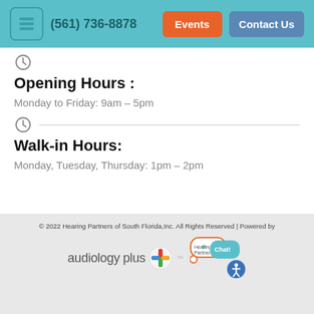(561) 736-8878 | Events | Contact Us
Opening Hours :
Monday to Friday: 9am – 5pm
Walk-in Hours:
Monday, Tuesday, Thursday: 1pm – 2pm
© 2022 Hearing Partners of South Florida,Inc. All Rights Reserved | Powered by audiology plus